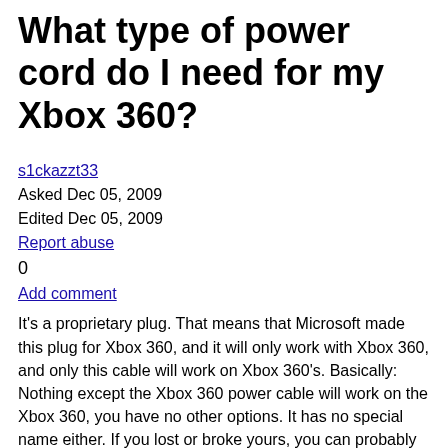What type of power cord do I need for my Xbox 360?
s1ckazzt33
Asked Dec 05, 2009
Edited Dec 05, 2009
Report abuse
0
Add comment
It's a proprietary plug. That means that Microsoft made this plug for Xbox 360, and it will only work with Xbox 360, and only this cable will work on Xbox 360's. Basically: Nothing except the Xbox 360 power cable will work on the Xbox 360, you have no other options. It has no special name either. If you lost or broke yours, you can probably get a replacement one at Gamestop or Bestbuy, I'm not completely sure about this though. I'm positive you can get one online though. Point is: Don't try anything other than an Xbox 360 power cable, it runs at a specific voltage, and anything that either doesn't fit, or runs at a different voltage, or even different amperes could permanently damage your Xbox 360